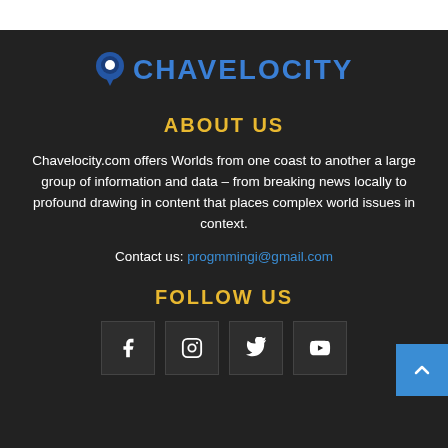[Figure (logo): Chavelocity logo with map pin icon and blue uppercase text CHAVELOCITY]
ABOUT US
Chavelocity.com offers Worlds from one coast to another a large group of information and data – from breaking news locally to profound drawing in content that places complex world issues in context.
Contact us: progmmingi@gmail.com
FOLLOW US
[Figure (other): Four social media icon boxes: Facebook, Instagram, Twitter, YouTube]
[Figure (other): Back to top button with upward chevron arrow, blue background]